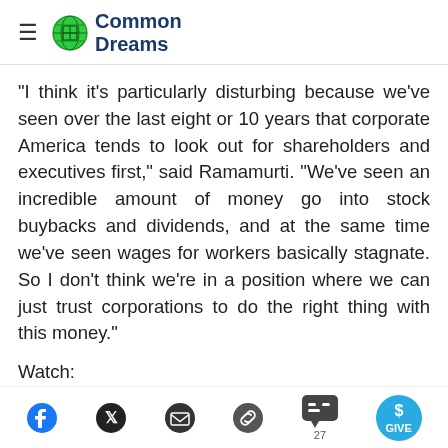Common Dreams
"I think it's particularly disturbing because we've seen over the last eight or 10 years that corporate America tends to look out for shareholders and executives first," said Ramamurti. "We've seen an incredible amount of money go into stock buybacks and dividends, and at the same time we've seen wages for workers basically stagnate. So I don't think we're in a position where we can just trust corporations to do the right thing with this money."
Watch:
"The limitations on smaller businesses are actually
Facebook | Twitter | Email | Link | Comments 27 | GIVE